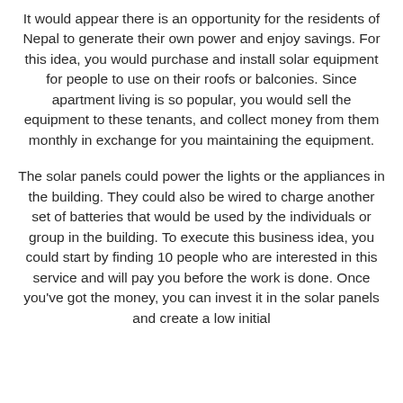It would appear there is an opportunity for the residents of Nepal to generate their own power and enjoy savings. For this idea, you would purchase and install solar equipment for people to use on their roofs or balconies. Since apartment living is so popular, you would sell the equipment to these tenants, and collect money from them monthly in exchange for you maintaining the equipment.
The solar panels could power the lights or the appliances in the building. They could also be wired to charge another set of batteries that would be used by the individuals or group in the building. To execute this business idea, you could start by finding 10 people who are interested in this service and will pay you before the work is done. Once you've got the money, you can invest it in the solar panels and create a low initial